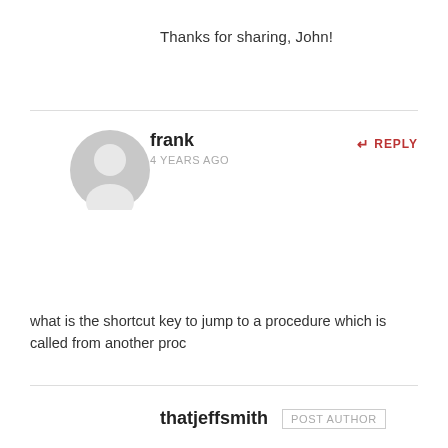Thanks for sharing, John!
frank
REPLY
4 YEARS AGO
[Figure (illustration): Generic gray user avatar icon (circular silhouette of a person)]
what is the shortcut key to jump to a procedure which is called from another proc
thatjeffsmith  POST AUTHOR